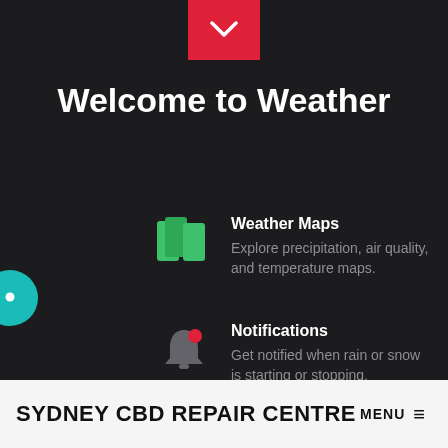[Figure (screenshot): Mobile weather app welcome screen on dark background with red chevron button at top, teal chat bubble on left edge, and feature list items]
Welcome to Weather
Weather Maps – Explore precipitation, air quality, and temperature maps.
Notifications – Get notified when rain or snow is starting or stopping.
New Design – View new weather charts, animated
SYDNEY CBD REPAIR CENTRE MENU ≡